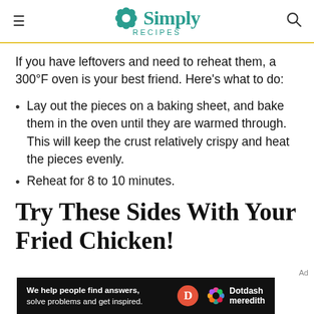Simply Recipes
If you have leftovers and need to reheat them, a 300°F oven is your best friend. Here's what to do:
Lay out the pieces on a baking sheet, and bake them in the oven until they are warmed through. This will keep the crust relatively crispy and heat the pieces evenly.
Reheat for 8 to 10 minutes.
Try These Sides With Your Fried Chicken!
[Figure (infographic): Dotdash Meredith advertisement banner: 'We help people find answers, solve problems and get inspired.' with Dotdash Meredith logo on dark background.]